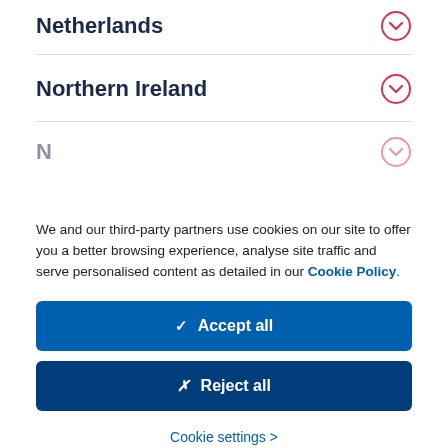Netherlands
Northern Ireland
We and our third-party partners use cookies on our site to offer you a better browsing experience, analyse site traffic and serve personalised content as detailed in our Cookie Policy.
✓  Accept all
✗  Reject all
Cookie settings >